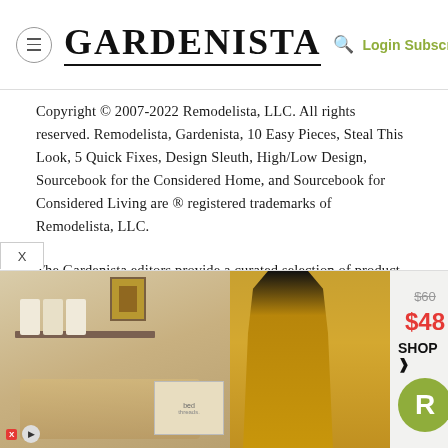GARDENISTA — Login Subscribe
Copyright © 2007-2022 Remodelista, LLC. All rights reserved. Remodelista, Gardenista, 10 Easy Pieces, Steal This Look, 5 Quick Fixes, Design Sleuth, High/Low Design, Sourcebook for the Considered Home, and Sourcebook for Considered Living are ® registered trademarks of Remodelista, LLC.
The Gardenista editors provide a curated selection of product recommendations for your consideration. Clicking through to the retailer that sells the product may earn us a commission.
[Figure (screenshot): Advertisement banner at bottom of page showing a room scene with towels and shelf, a model in mustard-colored coat, and a price callout showing $60 crossed out and $48 in red with a SHOP button and green R badge.]